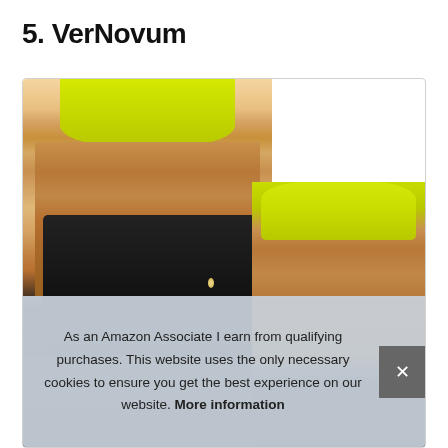5. VerNovum
[Figure (photo): Product photo showing a woman in yellow sports bra and black shorts from front and back views, demonstrating a fitness/slimming product called VerNovum]
As an Amazon Associate I earn from qualifying purchases. This website uses the only necessary cookies to ensure you get the best experience on our website. More information